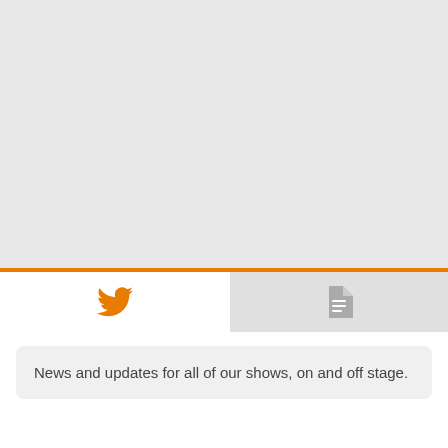[Figure (screenshot): Screenshot of a web UI showing two tabs: an active Twitter tab (orange bird icon) and an inactive document/notes tab (gray document icon), with an orange accent line above the active tab.]
News and updates for all of our shows, on and off stage.